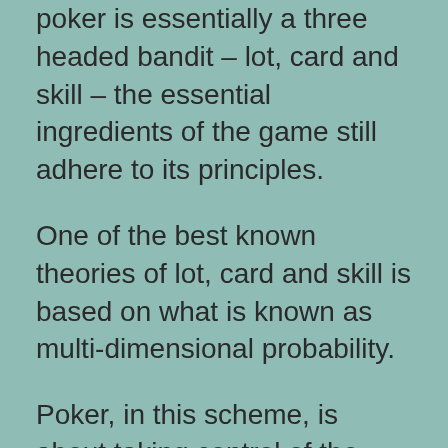poker is essentially a three headed bandit – lot, card and skill – the essential ingredients of the game still adhere to its principles.
One of the best known theories of lot, card and skill is based on what is known as multi-dimensional probability.
Poker, in this scheme, is about taking control of the whole game, rather than winning a single pot.
Lottery players apply this theory all the time. To do this, they have to be at least aware of how to play the individual draws. Drawing decisions